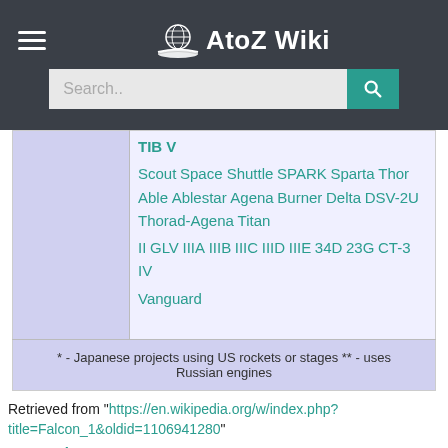AtoZ Wiki
| (image) | TIB V
Scout Space Shuttle SPARK Sparta Thor Able Ablestar Agena Burner Delta DSV-2U Thorad-Agena Titan
II GLV IIIA IIIB IIIC IIID IIIE 34D 23G CT-3 IV
Vanguard |
| * - Japanese projects using US rockets or stages ** - uses Russian engines |  |
Retrieved from "https://en.wikipedia.org/w/index.php?title=Falcon_1&oldid=1106941280"
Categories:
SpaceX launch vehicles
Vehicles introduced in 2006